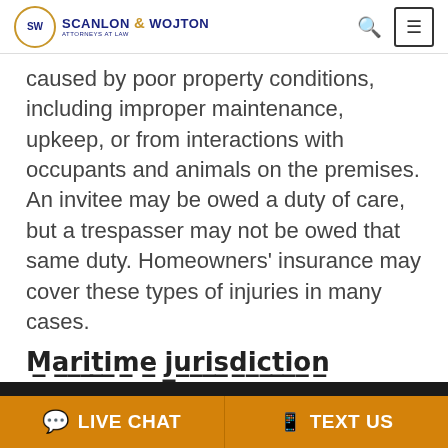Scanlon & Wojton Attorneys at Law
caused by poor property conditions, including improper maintenance, upkeep, or from interactions with occupants and animals on the premises. An invitee may be owed a duty of care, but a trespasser may not be owed that same duty. Homeowners' insurance may cover these types of injuries in many cases.
Maritime jurisdiction
We are using cookies to give you the best experience. You can find out more about which cookies we are using or switch them off via Cookie Settings Window.
LIVE CHAT   TEXT US